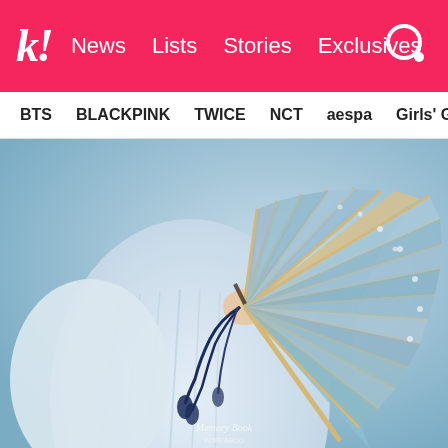k! News Lists Stories Exclusives
BTS BLACKPINK TWICE NCT aespa Girls' Generation
[Figure (photo): A person in a light blue/white flowing outfit holding a large traditional folding fan (sensu fan) with light blue and beige wooden slats decorated with small dots/stars, obscuring their face. Dark blue tassels hang from the fan. Small watermark text reads 'Memory Book' at bottom center. Background is a soft blue tone.]